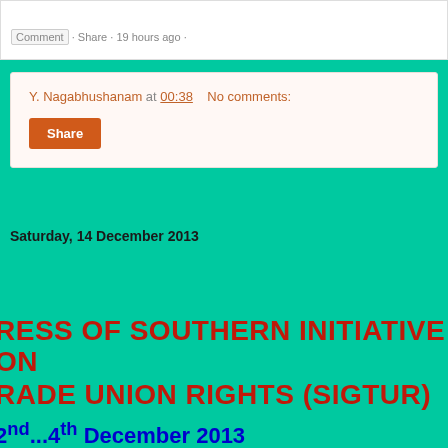Comment · Share · 19 hours ago ·
Y. Nagabhushanam at 00:38    No comments:
Share
Saturday, 14 December 2013
RESS OF SOUTHERN INITIATIVE ON RADE UNION RIGHTS (SIGTUR)
2nd ... 4th December 2013